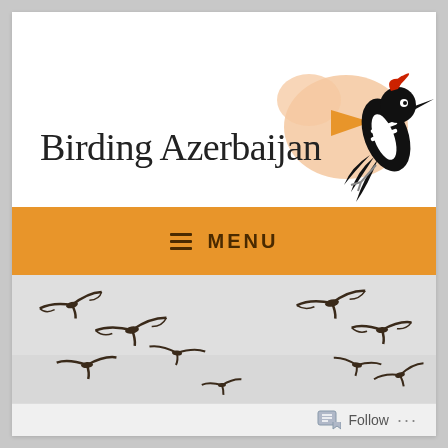Birding Azerbaijan
[Figure (logo): Birding Azerbaijan logo: map of Azerbaijan in peach/orange with a black and white woodpecker bird overlaid]
[Figure (other): Navigation menu bar with hamburger icon and MENU text on orange background]
[Figure (photo): Photo of multiple birds (swifts/swallows) in flight against a grey-white sky]
Follow ...